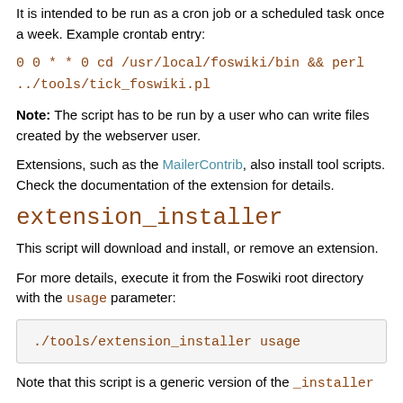It is intended to be run as a cron job or a scheduled task once a week. Example crontab entry:
0 0 * * 0 cd /usr/local/foswiki/bin && perl ../tools/tick_foswiki.pl
Note: The script has to be run by a user who can write files created by the webserver user.
Extensions, such as the MailerContrib, also install tool scripts. Check the documentation of the extension for details.
extension_installer
This script will download and install, or remove an extension.
For more details, execute it from the Foswiki root directory with the usage parameter:
./tools/extension_installer usage
Note that this script is a generic version of the _installer